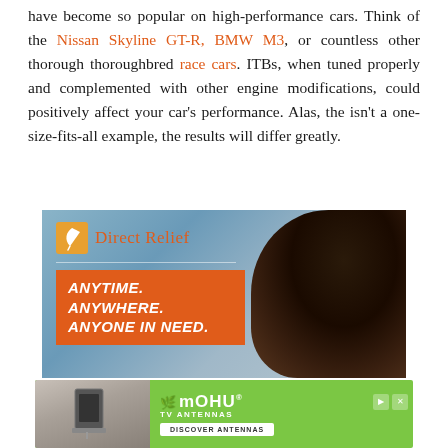have become so popular on high-performance cars. Think of the Nissan Skyline GT-R, BMW M3, or countless other thorough thoroughbred race cars. ITBs, when tuned properly and complemented with other engine modifications, could positively affect your car's performance. Alas, the isn't a one-size-fits-all example, the results will differ greatly.
[Figure (photo): Direct Relief advertisement banner showing a person with dark hair from behind, with an orange tagline box reading ANYTIME. ANYWHERE. ANYONE IN NEED. and the Direct Relief logo with leaf icon in the upper left.]
[Figure (photo): Mohu TV Antennas advertisement banner on green background showing a flat antenna on a wall, with the Mohu logo and 'DISCOVER ANTENNAS' button.]